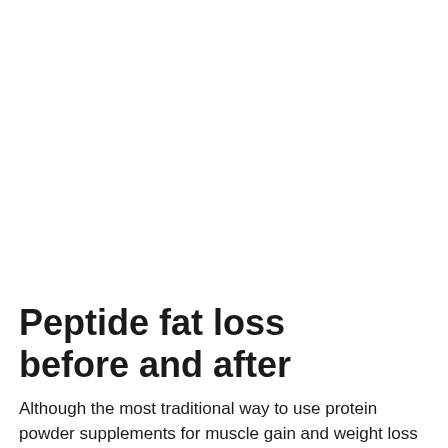Peptide fat loss before and after
Although the most traditional way to use protein powder supplements for muscle gain and weight loss is after a training session, you can also drink a protein supplement